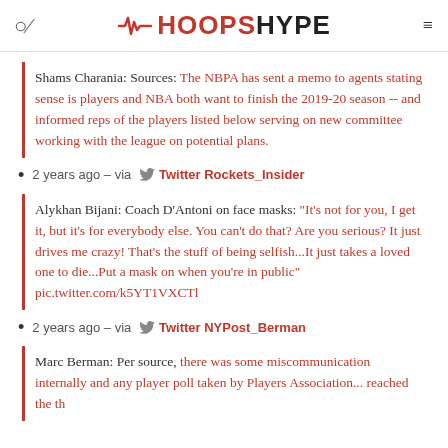HOOPSHYPE
Shams Charania: Sources: The NBPA has sent a memo to agents stating sense is players and NBA both want to finish the 2019-20 season -- and informed reps of the players listed below serving on new committee working with the league on potential plans.
2 years ago - via Twitter Rockets_Insider
Alykhan Bijani: Coach D'Antoni on face masks: "It's not for you, I get it, but it's for everybody else. You can't do that? Are you serious? It just drives me crazy! That's the stuff of being selfish...It just takes a loved one to die...Put a mask on when you're in public" pic.twitter.com/k5YT1VXCTl
2 years ago - via Twitter NYPost_Berman
Marc Berman: Per source, there was some miscommunication internally and any player poll taken by Players Association...